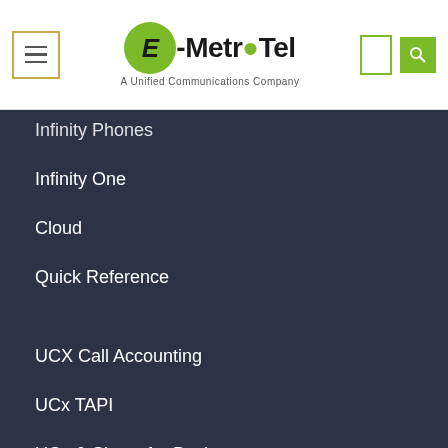E-MetroTel — A Unified Communications Company
Infinity Phones
Infinity One
Cloud
Quick Reference
UCX Call Accounting
UCx TAPI
UCx & Skype for Business